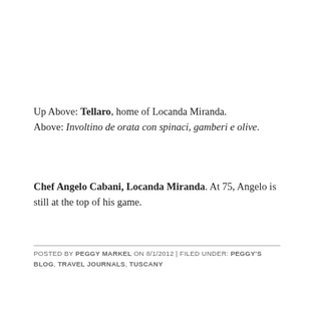Up Above: Tellaro, home of Locanda Miranda.
Above: Involtino de orata con spinaci, gamberi e olive.
Chef Angelo Cabani, Locanda Miranda. At 75, Angelo is still at the top of his game.
POSTED BY PEGGY MARKEL ON 8/1/2012 | FILED UNDER: PEGGY'S BLOG, TRAVEL JOURNALS, TUSCANY